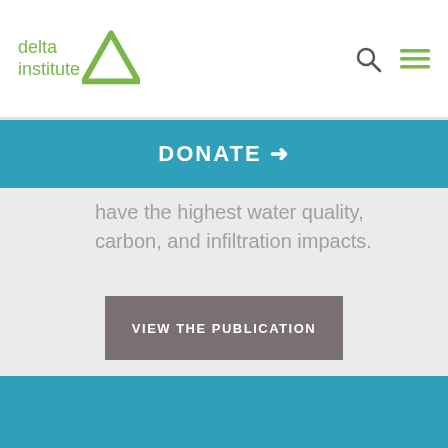[Figure (logo): Delta Institute logo with green triangle and green text]
DONATE →
have the highest water quality, carbon, and infiltration impacts.
VIEW THE PUBLICATION
Published: June 9, 2022